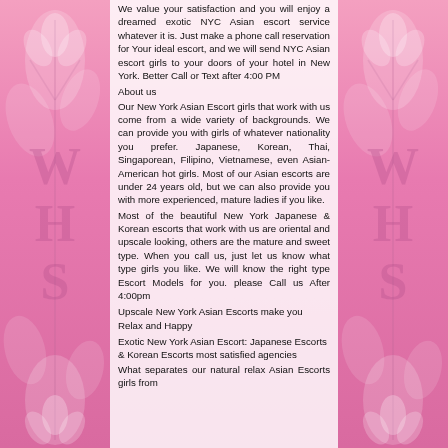We value your satisfaction and you will enjoy a dreamed exotic NYC Asian escort service whatever it is. Just make a phone call reservation for Your ideal escort, and we will send NYC Asian escort girls to your doors of your hotel in New York. Better Call or Text after 4:00 PM
About us
Our New York Asian Escort girls that work with us come from a wide variety of backgrounds. We can provide you with girls of whatever nationality you prefer. Japanese, Korean, Thai, Singaporean, Filipino, Vietnamese, even Asian-American hot girls. Most of our Asian escorts are under 24 years old, but we can also provide you with more experienced, mature ladies if you like.
Most of the beautiful New York Japanese & Korean escorts that work with us are oriental and upscale looking, others are the mature and sweet type. When you call us, just let us know what type girls you like. We will know the right type Escort Models for you. please Call us After 4:00pm
Upscale New York Asian Escorts make you Relax and Happy
Exotic New York Asian Escort: Japanese Escorts & Korean Escorts most satisfied agencies
What separates our natural relax Asian Escorts girls from